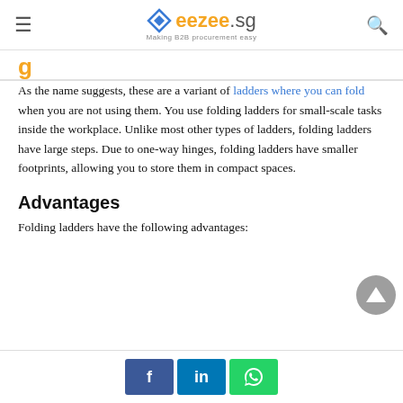eezee.sg — Making B2B procurement easy
g…
As the name suggests, these are a variant of ladders where you can fold when you are not using them. You use folding ladders for small-scale tasks inside the workplace. Unlike most other types of ladders, folding ladders have large steps. Due to one-way hinges, folding ladders have smaller footprints, allowing you to store them in compact spaces.
Advantages
Folding ladders have the following advantages:
Facebook LinkedIn WhatsApp social share buttons